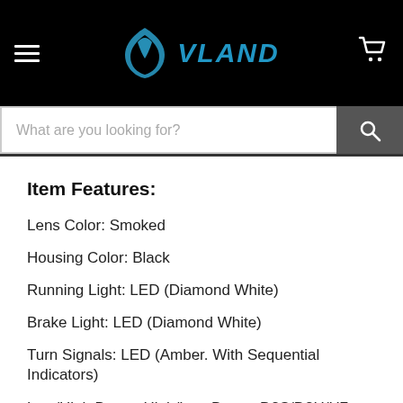VLAND
Item Features:
Lens Color: Smoked
Housing Color: Black
Running Light: LED (Diamond White)
Brake Light: LED (Diamond White)
Turn Signals: LED (Amber. With Sequential Indicators)
Low/High Beam: High/Low Beam: D2S/D2H/H7 Xenon